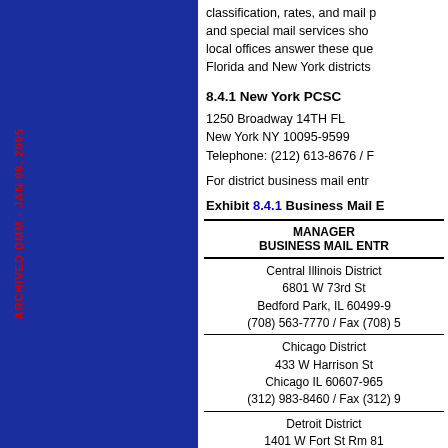ARCHIVED DMM - JAN 06, 2005
classification, rates, and mail preparation and special mail services show... local offices answer these questions. Florida and New York districts...
8.4.1 New York PCSC
1250 Broadway 14TH FL
New York NY 10095-9599
Telephone: (212) 613-8676 / F...
For district business mail entr...
Exhibit 8.4.1 Business Mail...
| MANAGER
BUSINESS MAIL ENTR... |
| --- |
| Central Illinois District
6801 W 73rd St
Bedford Park, IL 60499-9...
(708) 563-7770 / Fax (708) 5... |
| Chicago District
433 W Harrison St
Chicago IL 60607-965...
(312) 983-8460 / Fax (312) 9... |
| Detroit District
1401 W Fort St Rm 81... |